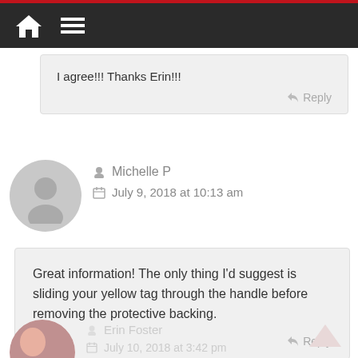[Figure (screenshot): Website navigation bar with dark background, red top border, home icon and hamburger menu icon in white]
I agree!!! Thanks Erin!!!
Reply
Michelle P
July 9, 2018 at 10:13 am
Great information! The only thing I’d suggest is sliding your yellow tag through the handle before removing the protective backing.
Reply
Erin Foster
July 10, 2018 at 3:42 pm